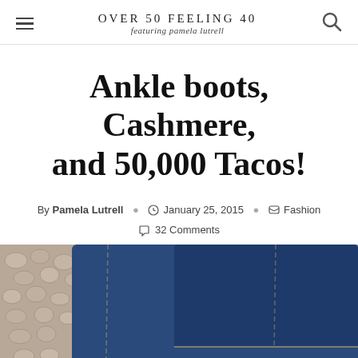OVER 50 FEELING 40 featuring pamela lutrell
Ankle boots, Cashmere, and 50,000 Tacos!
By Pamela Lutrell  January 25, 2015  Fashion  32 Comments
[Figure (photo): Close-up photo of person wearing dark blue jeans and brown ankle boots, standing on a cobblestone surface. The photo shows the lower legs and feet area, cropped.]